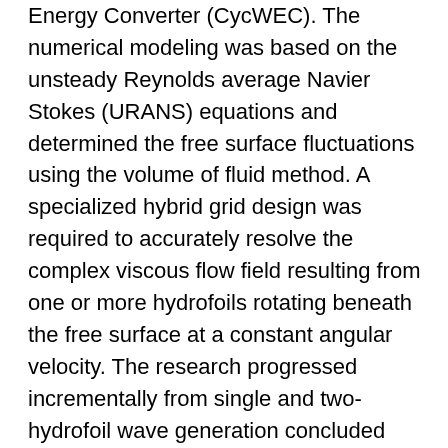Energy Converter (CycWEC). The numerical modeling was based on the unsteady Reynolds average Navier Stokes (URANS) equations and determined the free surface fluctuations using the volume of fluid method. A specialized hybrid grid design was required to accurately resolve the complex viscous flow field resulting from one or more hydrofoils rotating beneath the free surface at a constant angular velocity. The research progressed incrementally from single and two-hydrofoil wave generation concluded with two-hydrofoil wave cancellation. Unlike previous inviscid simulations, the URANS simulations were able to model nonlinear free surface interactions and viscous effects, allowing shaft torques to be numerically predicted for first time. It also provided complete velocity and pressure fields which previous experimental work could not. A grid refinement and time step sensitivity study are completed to increase simulation accuracy and computational efficiency. Fluctuations of wave height, surface pressure distribution, hydrodynamic force, and